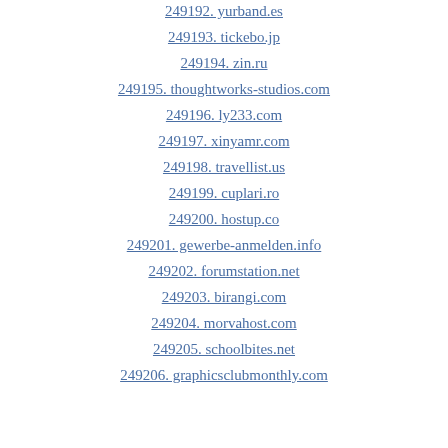249192. yurband.es
249193. tickebo.jp
249194. zin.ru
249195. thoughtworks-studios.com
249196. ly233.com
249197. xinyamr.com
249198. travellist.us
249199. cuplari.ro
249200. hostup.co
249201. gewerbe-anmelden.info
249202. forumstation.net
249203. birangi.com
249204. morvahost.com
249205. schoolbites.net
249206. graphicsclubmonthly.com